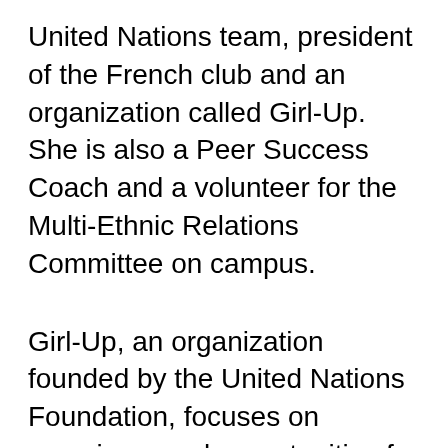United Nations team, president of the French club and an organization called Girl-Up. She is also a Peer Success Coach and a volunteer for the Multi-Ethnic Relations Committee on campus.
Girl-Up, an organization founded by the United Nations Foundation, focuses on securing equal opportunities for underprivileged adolescent girls in developing countries and conflict areas! As president, she hosts events that include dialogue and action relating to health, social and economic opportunities, and a life free from